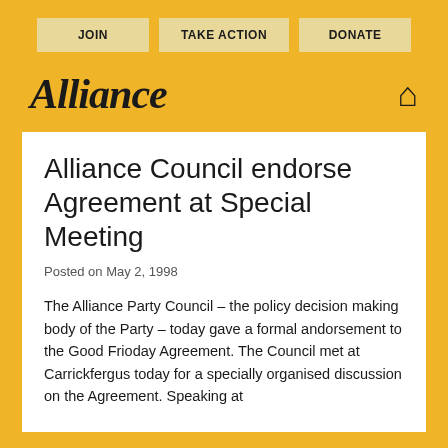JOIN | TAKE ACTION | DONATE
Alliance
Alliance Council endorse Agreement at Special Meeting
Posted on May 2, 1998
The Alliance Party Council – the policy decision making body of the Party – today gave a formal andorsement to the Good Frioday Agreement. The Council met at Carrickfergus today for a specially organised discussion on the Agreement. Speaking at